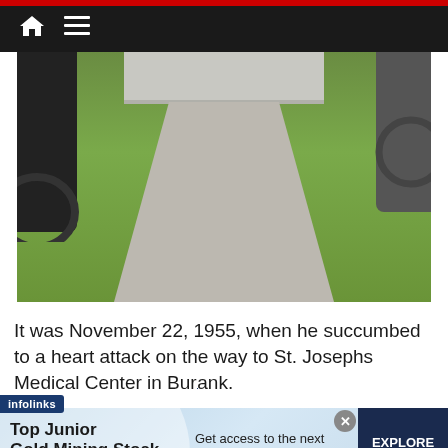[Figure (photo): Outdoor photo showing a concrete step/monument base and a concrete path/walkway surrounded by green grass, with dark equipment or machinery visible on the left and right edges]
It was November 22, 1955, when he succumbed to a heart attack on the way to St. Josephs Medical Center in Burbank.
[Figure (infographic): Infolinks advertisement banner for Top Junior Gold Mining Stock. Text reads: 'Top Junior Gold Mining Stock' / 'Get access to the next Top mining "Micro Cap" here!' / 'EXPLORE NOW']